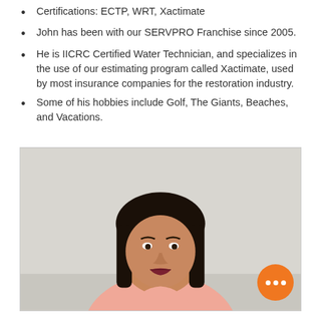Certifications: ECTP, WRT, Xactimate
John has been with our SERVPRO Franchise since 2005.
He is IICRC Certified Water Technician, and specializes in the use of our estimating program called Xactimate, used by most insurance companies for the restoration industry.
Some of his hobbies include Golf, The Giants, Beaches, and Vacations.
[Figure (photo): Portrait photo of a woman with dark shoulder-length hair wearing a light pink top, photographed against a light grey/white background.]